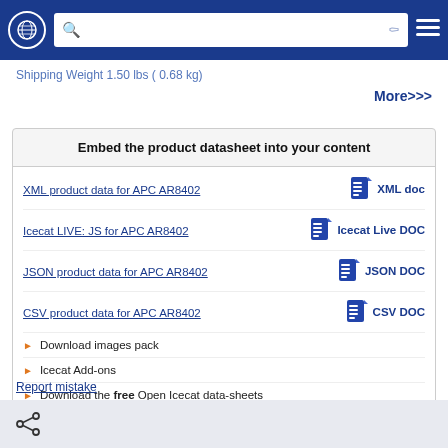Navigation bar with globe icon, search bar, filter icon, and hamburger menu
Shipping Weight 1.50 lbs ( 0.68 kg)
More>>>
Embed the product datasheet into your content
XML product data for APC AR8402 | XML doc
Icecat LIVE: JS for APC AR8402 | Icecat Live DOC
JSON product data for APC AR8402 | JSON DOC
CSV product data for APC AR8402 | CSV DOC
Download images pack
Icecat Add-ons
Download the free Open Icecat data-sheets
Download the Icecat taxonomy for "Rack Accessories"
Report mistake
Share icon